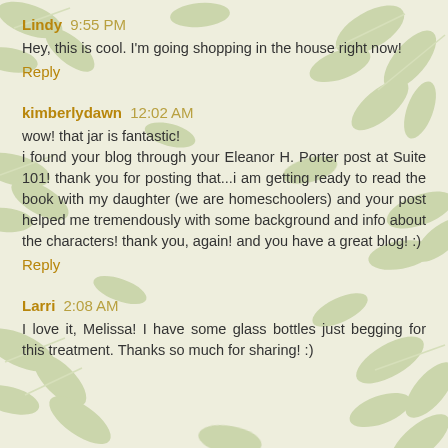Lindy 9:55 PM
Hey, this is cool. I'm going shopping in the house right now!
Reply
kimberlydawn 12:02 AM
wow! that jar is fantastic!
i found your blog through your Eleanor H. Porter post at Suite 101! thank you for posting that...i am getting ready to read the book with my daughter (we are homeschoolers) and your post helped me tremendously with some background and info about the characters! thank you, again! and you have a great blog! :)
Reply
Larri 2:08 AM
I love it, Melissa! I have some glass bottles just begging for this treatment. Thanks so much for sharing! :)